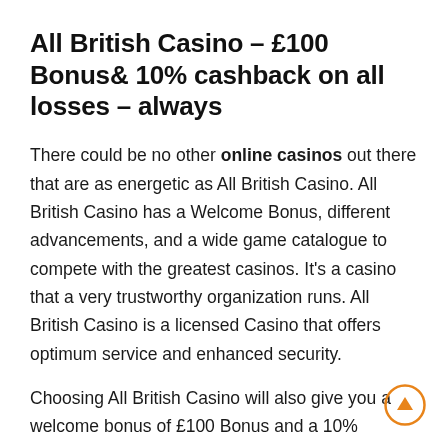All British Casino – £100 Bonus& 10% cashback on all losses – always
There could be no other online casinos out there that are as energetic as All British Casino. All British Casino has a Welcome Bonus, different advancements, and a wide game catalogue to compete with the greatest casinos. It's a casino that a very trustworthy organization runs. All British Casino is a licensed Casino that offers optimum service and enhanced security.
Choosing All British Casino will also give you a welcome bonus of £100 Bonus and a 10% cashback on all losses at all times; this will definitely bring melody to your ears.